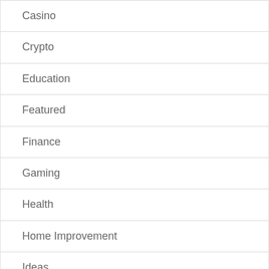Casino
Crypto
Education
Featured
Finance
Gaming
Health
Home Improvement
Ideas